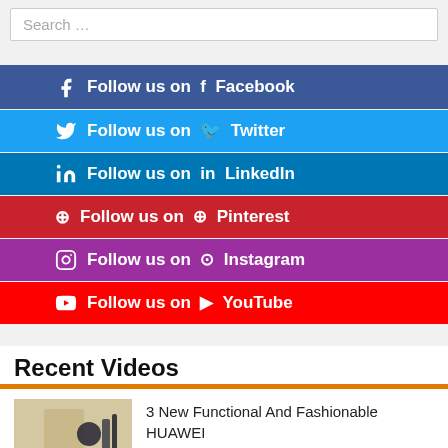Search …
Follow us on Facebook
Follow us on Twitter
Follow us on LinkedIn
Follow us on Pinterest
Follow us on Instagram
Follow us on YouTube
Recent Videos
3 New Functional And Fashionable HUAWEI